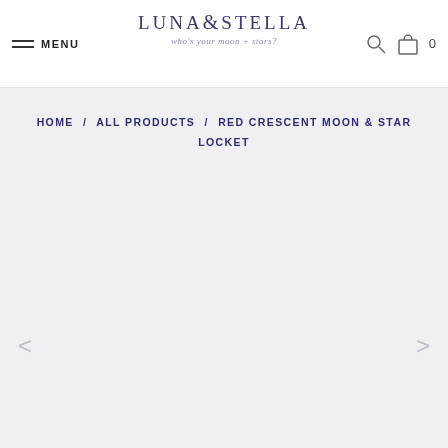MENU | LUNA & STELLA who's your moon + stars? | search | bag 0
HOME / ALL PRODUCTS / RED CRESCENT MOON & STAR LOCKET